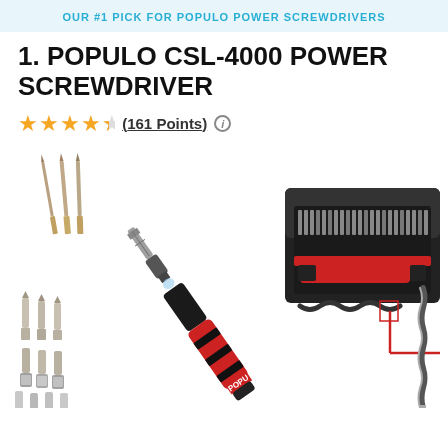OUR #1 PICK FOR POPULO POWER SCREWDRIVERS
1. POPULO CSL-4000 POWER SCREWDRIVER
★★★★½ (161 Points) ℹ
[Figure (photo): Product photo of Populo CSL-4000 power screwdriver with various drill bits and accessories displayed, plus a case with accessories on the right side.]